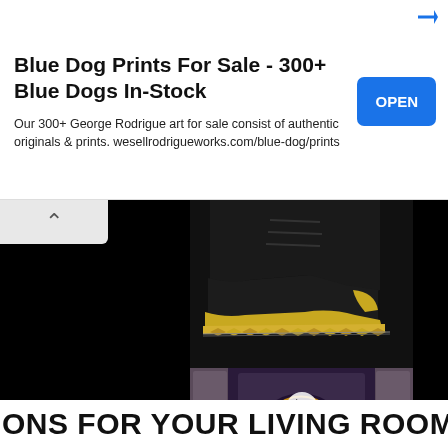[Figure (screenshot): Advertisement banner for 'Blue Dog Prints For Sale - 300+ Blue Dogs In-Stock' with an OPEN button]
Blue Dog Prints For Sale - 300+ Blue Dogs In-Stock
Our 300+ George Rodrigue art for sale consist of authentic originals & prints. wesellrodrigueworks.com/blue-dog/prints
[Figure (photo): Close-up photograph of a black leather boot with gold metallic sole featuring pyramid-shaped studs]
[Figure (screenshot): Video thumbnail showing an illuminated ornate building entrance/archway at night with a play button overlay]
ONS FOR YOUR LIVING ROOM IN